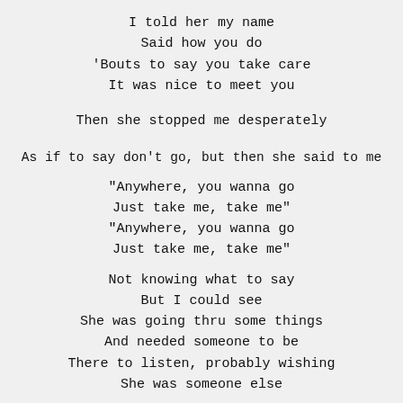I told her my name
Said how you do
'Bouts to say you take care
It was nice to meet you
Then she stopped me desperately
As if to say don't go, but then she said to me
“Anywhere, you wanna go
Just take me, take me”
“Anywhere, you wanna go
Just take me, take me”
Not knowing what to say
But I could see
She was going thru some things
And needed someone to be
There to listen, probably wishing
She was someone else
And in my heart felt bad